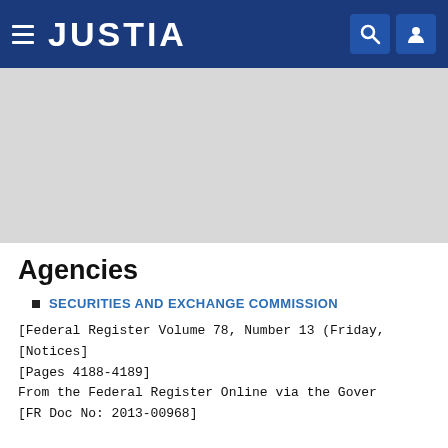JUSTIA
[Figure (other): Gray advertisement placeholder block]
Agencies
SECURITIES AND EXCHANGE COMMISSION
[Federal Register Volume 78, Number 13 (Friday, ...]
[Notices]
[Pages 4188-4189]
From the Federal Register Online via the Gover...
[FR Doc No: 2013-00968]